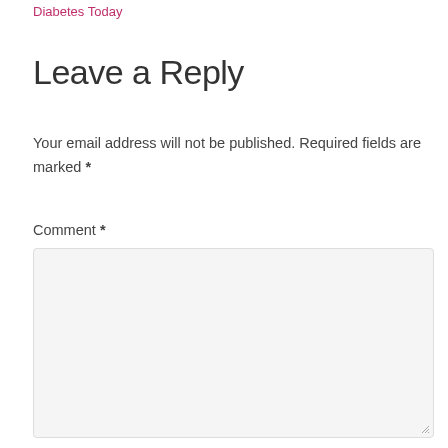Diabetes Today
Leave a Reply
Your email address will not be published. Required fields are marked *
Comment *